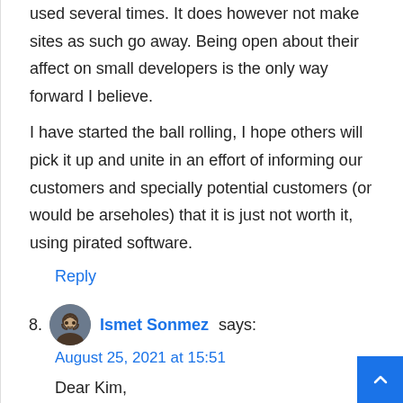used several times. It does however not make sites as such go away. Being open about their affect on small developers is the only way forward I believe.
I have started the ball rolling, I hope others will pick it up and unite in an effort of informing our customers and specially potential customers (or would be arseholes) that it is just not worth it, using pirated software.
Reply
8. Ismet Sonmez says:
August 25, 2021 at 15:51
Dear Kim,
Maybe you don't know, but at first I pirated your products.